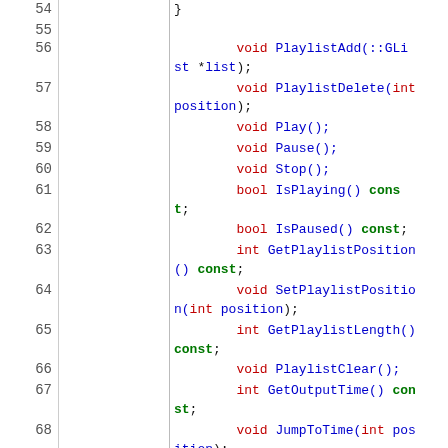[Figure (screenshot): Source code viewer showing C++ class method declarations with line numbers 54-70, author annotations (douglas), revision numbers, and syntax-highlighted code in monospace font.]